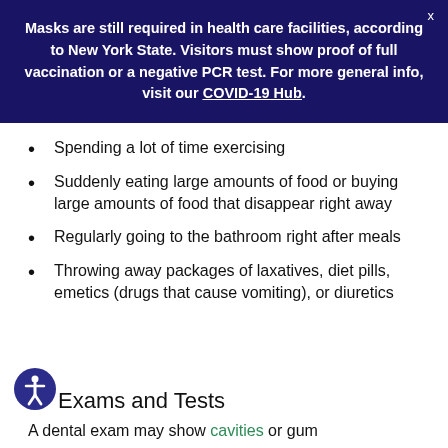Masks are still required in health care facilities, according to New York State. Visitors must show proof of full vaccination or a negative PCR test. For more general info, visit our COVID-19 Hub.
Spending a lot of time exercising
Suddenly eating large amounts of food or buying large amounts of food that disappear right away
Regularly going to the bathroom right after meals
Throwing away packages of laxatives, diet pills, emetics (drugs that cause vomiting), or diuretics
Exams and Tests
A dental exam may show cavities or gum